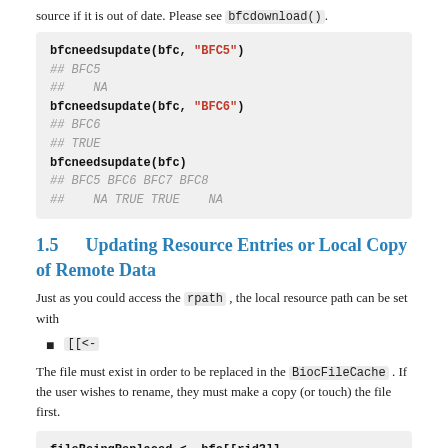source if it is out of date. Please see bfcdownload().
bfcneedsupdate(bfc, "BFC5")
## BFC5
##    NA
bfcneedsupdate(bfc, "BFC6")
## BFC6
## TRUE
bfcneedsupdate(bfc)
## BFC5 BFC6 BFC7 BFC8
##   NA TRUE TRUE   NA
1.5   Updating Resource Entries or Local Copy of Remote Data
Just as you could access the rpath , the local resource path can be set with
[[<-
The file must exist in order to be replaced in the BiocFileCache . If the user wishes to rename, they must make a copy (or touch) the file first.
fileBeingReplaced <- bfc[[rid3]]